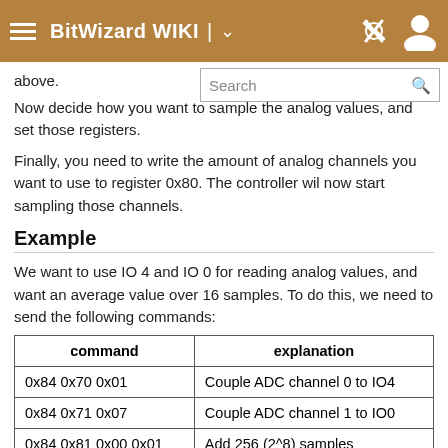BitWizard WIKI
above.
Now decide how you want to sample the analog values, and set those registers.
Finally, you need to write the amount of analog channels you want to use to register 0x80. The controller wil now start sampling those channels.
Example
We want to use IO 4 and IO 0 for reading analog values, and want an average value over 16 samples. To do this, we need to send the following commands:
| command | explanation |
| --- | --- |
| 0x84 0x70 0x01 | Couple ADC channel 0 to IO4 |
| 0x84 0x71 0x07 | Couple ADC channel 1 to IO0 |
| 0x84 0x81 0x00 0x01 | Add 256 (2^8) samples |
| 0x84 0x82 0x04 | Bitshift result by 4 bits |